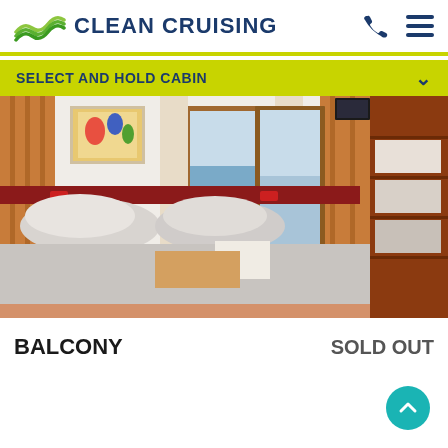CLEAN CRUISING
SELECT AND HOLD CABIN
[Figure (photo): Cruise ship balcony cabin interior with double bed, grey bedding, red accent headboard, wooden paneling, curtains, and balcony door with ocean view]
BALCONY   SOLD OUT